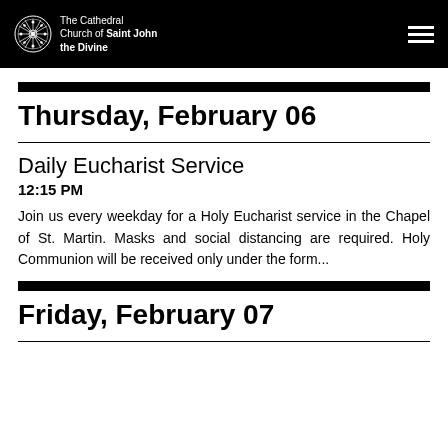The Cathedral Church of Saint John the Divine
Thursday, February 06
Daily Eucharist Service
12:15 PM
Join us every weekday for a Holy Eucharist service in the Chapel of St. Martin. Masks and social distancing are required. Holy Communion will be received only under the form...
Friday, February 07